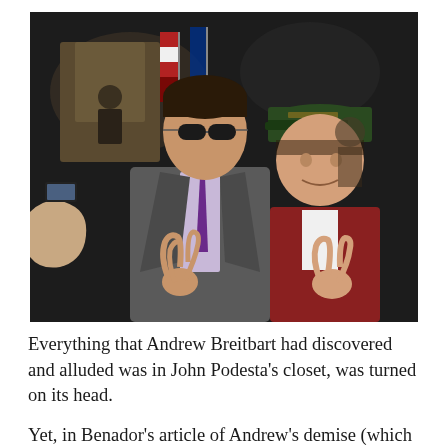[Figure (photo): Two men posing for a photo at what appears to be a political event. The man on the left wears sunglasses and a suit with a purple tie and is making an OK hand gesture. The man on the right wears a dark green cap and a red jacket over a white shirt and is also making a hand gesture. In the background there is a speaker at a podium, American flags, and other attendees.]
Everything that Andrew Breitbart had discovered and alluded was in John Podesta's closet, was turned on its head.
Yet, in Benador's article of Andrew's demise (which included the demise of conservatism,) she spoke of a State Representative from